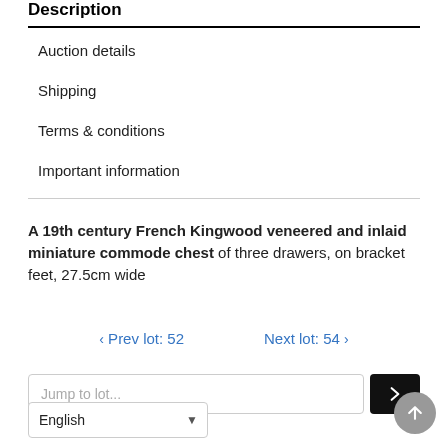Description
Auction details
Shipping
Terms & conditions
Important information
A 19th century French Kingwood veneered and inlaid miniature commode chest of three drawers, on bracket feet, 27.5cm wide
< Prev lot: 52     Next lot: 54 >
Jump to lot...
English